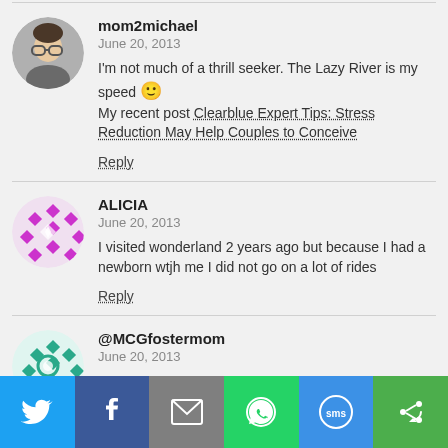[Figure (other): Comment from mom2michael dated June 20, 2013 with avatar photo]
I'm not much of a thrill seeker. The Lazy River is my speed 🙂
My recent post Clearblue Expert Tips: Stress Reduction May Help Couples to Conceive
Reply
[Figure (other): Comment from ALICIA dated June 20, 2013 with purple geometric avatar]
I visited wonderland 2 years ago but because I had a newborn wtjh me I did not go on a lot of rides
Reply
[Figure (other): Comment from @MCGfostermom dated June 20, 2013 with teal geometric avatar]
[Figure (infographic): Social share bar with Twitter, Facebook, Email, WhatsApp, SMS, and other sharing buttons]